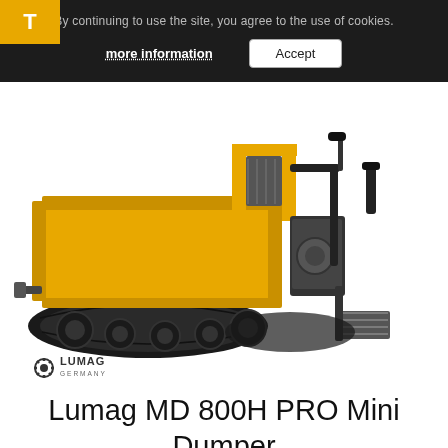[Figure (logo): Yellow square logo with white letter T, top-left corner]
By continuing to use the site, you agree to the use of cookies.
more information    Accept
[Figure (photo): Lumag MD 800H PRO Mini Dumper — yellow tracked mini dumper shown from rear-left angle with black rubber tracks, yellow cargo bed, and operator handles. Lumag Germany logo visible bottom-left.]
Lumag MD 800H PRO Mini Dumper